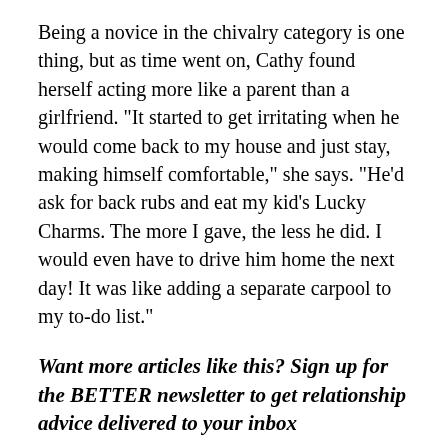Being a novice in the chivalry category is one thing, but as time went on, Cathy found herself acting more like a parent than a girlfriend. "It started to get irritating when he would come back to my house and just stay, making himself comfortable," she says. "He'd ask for back rubs and eat my kid's Lucky Charms. The more I gave, the less he did. I would even have to drive him home the next day! It was like adding a separate carpool to my to-do list."
Want more articles like this? Sign up for the BETTER newsletter to get relationship advice delivered to your inbox
His communication with her was also sporadic; Hayes never knew where things stood or when she'd see him next. "He would go days without communicating and then just pop up out of nowhere," she says. "Not once in five months did he ever tell me how he felt about me as a